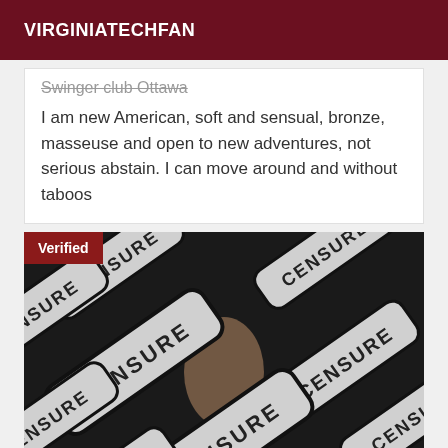VIRGINIATECHFAN
Swinger club Ottawa
I am new American, soft and sensual, bronze, masseuse and open to new adventures, not serious abstain. I can move around and without taboos
[Figure (photo): Censored photo with multiple overlapping 'CENSURE' stamp overlays covering a person, with a 'Verified' badge in the top-left corner]